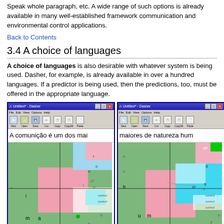Speak whole paragraph, etc. A wide range of such options is already available in many well-established framework communication and environmental control applications.
Back to Contents
3.4 A choice of languages
A choice of languages is also desirable with whatever system is being used. Dasher, for example, is already available in over a hundred languages. If a predictor is being used, then the predictions, too, must be offered in the appropriate language.
[Figure (screenshot): Two side-by-side screenshots of the Dasher application showing Portuguese text 'A comunição é um dos mai' and 'maiores de natureza hum' with colorful Dasher navigation interface below each text box.]